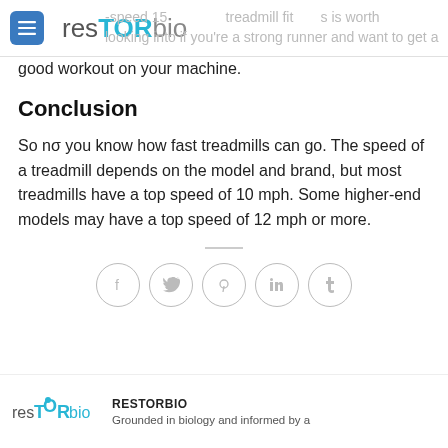resTORbio
-speed 15… treadmill fitness is worth looking into if you're a strong runner and want to get a good workout on your machine.
Conclusion
So now you know how fast treadmills can go. The speed of a treadmill depends on the model and brand, but most treadmills have a top speed of 10 mph. Some higher-end models may have a top speed of 12 mph or more.
[Figure (other): Social share icons: Facebook, Twitter, Pinterest, LinkedIn, Tumblr]
[Figure (logo): resTORbio logo (small) in teal]
RESTORBIO
Grounded in biology and informed by a…